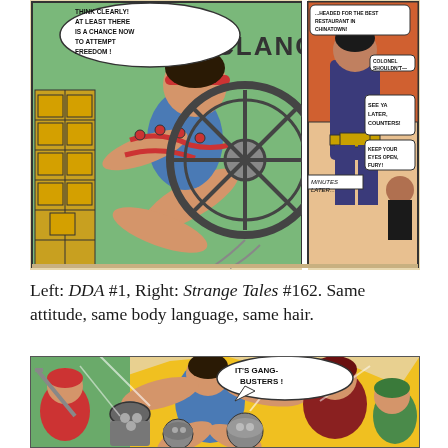[Figure (illustration): Two comic book panels side by side. Left panel shows a muscular hero in blue costume with red chains, kicking a large wheel/gear with sound effect CLANG, speech bubble reads THINK CLEARLY! AT LEAST THERE IS A CHANCE NOW TO ATTEMPT FREEDOM! Yellow brick blocks visible on left side. Right panel shows a man in dark blue uniform with gold belt, speech bubbles: heading text about Chinatown, COLONEL SHOULDN'T—, SEE YA LATER COUNTERS!, KEEP YOUR EYES OPEN FURY!, caption MINUTES LATER...]
Left: DDA #1, Right: Strange Tales #162. Same attitude, same body language, same hair.
[Figure (illustration): Comic book panel showing a hero in blue costume fighting multiple costumed villains. Speech bubble reads IT'S GANG-BUSTERS! Yellow background with dynamic action. Various villains in helmets and colorful outfits being defeated. A sword/dagger visible on the left side.]